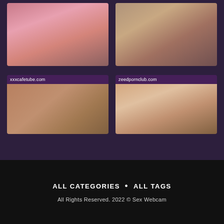[Figure (photo): Two thumbnail images in top row showing adult content]
xxxcafetube.com
[Figure (photo): Thumbnail image below xxxcafetube.com label]
zeedpornclub.com
[Figure (photo): Thumbnail image below zeedpornclub.com label]
ALL CATEGORIES  •  ALL TAGS
All Rights Reserved. 2022 © Sex Webcam